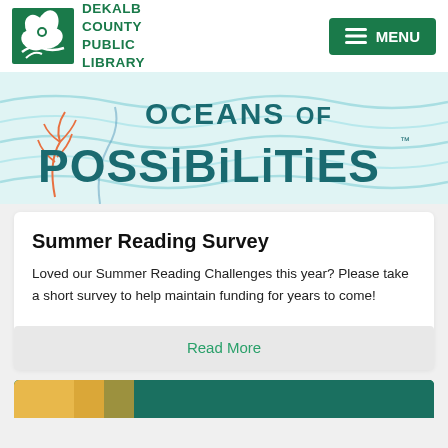DEKALB COUNTY PUBLIC LIBRARY
[Figure (logo): DeKalb County Public Library logo with white dogwood flower on green background, and library name text]
[Figure (illustration): Oceans of Possibilities summer reading program banner with ocean wave background and text reading OCEANS OF POSSIBILITIES]
Summer Reading Survey
Loved our Summer Reading Challenges this year? Please take a short survey to help maintain funding for years to come!
Read More
[Figure (photo): Partial view of colorful image at bottom of page with teal and yellow colors]